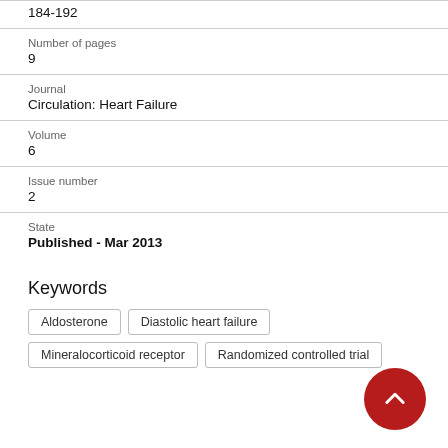184-192
Number of pages
9
Journal
Circulation: Heart Failure
Volume
6
Issue number
2
State
Published - Mar 2013
Keywords
Aldosterone
Diastolic heart failure
Mineralocorticoid receptor
Randomized controlled trial